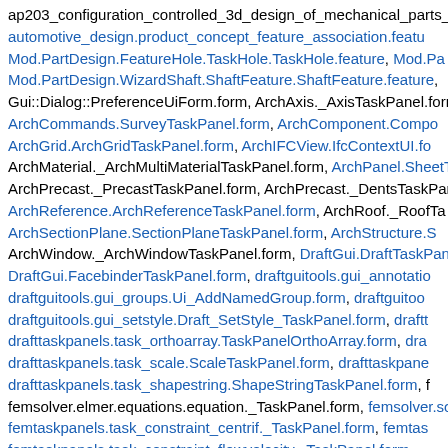ap203_configuration_controlled_3d_design_of_mechanical_parts_a... automotive_design.product_concept_feature_association.featu... Mod.PartDesign.FeatureHole.TaskHole.TaskHole.feature, Mod.Pa... Mod.PartDesign.WizardShaft.ShaftFeature.ShaftFeature.feature,... Gui::Dialog::PreferenceUiForm.form, ArchAxis._AxisTaskPanel.form,... ArchCommands.SurveyTaskPanel.form, ArchComponent.Compo... ArchGrid.ArchGridTaskPanel.form, ArchIFCView.IfcContextUI.fo... ArchMaterial._ArchMultiMaterialTaskPanel.form, ArchPanel.SheetTa... ArchPrecast._PrecastTaskPanel.form, ArchPrecast._DentsTaskPane... ArchReference.ArchReferenceTaskPanel.form, ArchRoof._RoofTa... ArchSectionPlane.SectionPlaneTaskPanel.form, ArchStructure.S... ArchWindow._ArchWindowTaskPanel.form, DraftGui.DraftTaskPane... DraftGui.FacebinderTaskPanel.form, draftguitools.gui_annotatio... draftguitools.gui_groups.Ui_AddNamedGroup.form, draftguitoo... draftguitools.gui_setstyle.Draft_SetStyle_TaskPanel.form, draftt... drafttaskpanels.task_orthoarray.TaskPanelOrthoArray.form, dra... drafttaskpanels.task_scale.ScaleTaskPanel.form, drafttaskpane... drafttaskpanels.task_shapestring.ShapeStringTaskPanel.form, f... femsolver.elmer.equations.equation._TaskPanel.form, femsolver.sol... femtaskpanels.task_constraint_centrif._TaskPanel.form, femtas... femtaskpanels.task_constraint_flowvelocity._TaskPanel.form